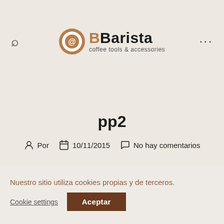[Figure (logo): BBarista coffee tools & accessories logo with circular coffee cup icon]
pp2
Por  10/11/2015  No hay comentarios
[Figure (photo): Brown/tan colored rectangular image block]
Nuestro sitio utiliza cookies propias y de terceros.
Cookie settings  Aceptar